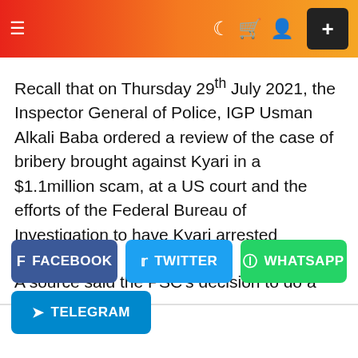≡ ☽ 🛒 👤 +
Recall that on Thursday 29th July 2021, the Inspector General of Police, IGP Usman Alkali Baba ordered a review of the case of bribery brought against Kyari in a $1.1million scam, at a US court and the efforts of the Federal Bureau of Investigation to have Kyari arrested
A source said the PSC's decision to do a separate
FACEBOOK
TWITTER
WHATSAPP
TELEGRAM